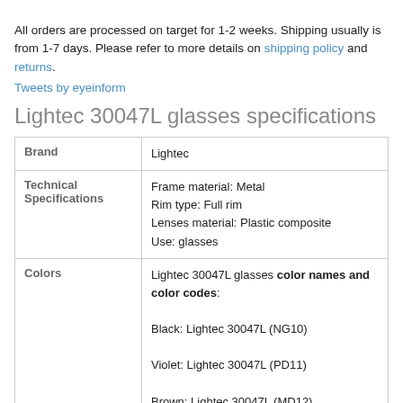All orders are processed on target for 1-2 weeks. Shipping usually is from 1-7 days. Please refer to more details on shipping policy and returns.
Tweets by eyeinform
Lightec 30047L glasses specifications
|  |  |
| --- | --- |
| Brand | Lightec |
| Technical Specifications | Frame material: Metal
Rim type: Full rim
Lenses material: Plastic composite
Use: glasses |
| Colors | Lightec 30047L glasses color names and color codes:

Black: Lightec 30047L (NG10)

Violet: Lightec 30047L (PD11)

Brown: Lightec 30047L (MD12) |
| Sizes | Lightec 30047L glasses sizes and sizing chart. : |